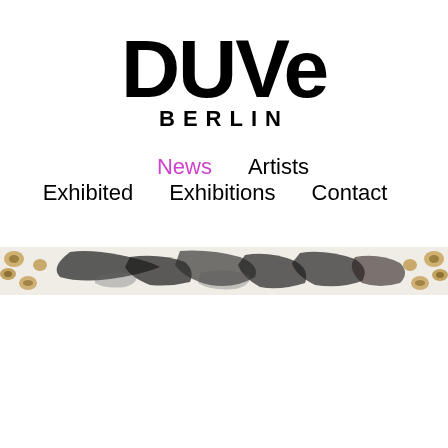[Figure (logo): DUVE BERLIN gallery logo in large bold black text with 'BERLIN' in spaced capitals beneath]
News   Artists Exhibited   Exhibitions   Contact
[Figure (photo): A horizontal banner strip showing a cropped artwork with animal print (leopard) patterns on the edges and dark abstract brushstroke or figure forms in the center on a white background]